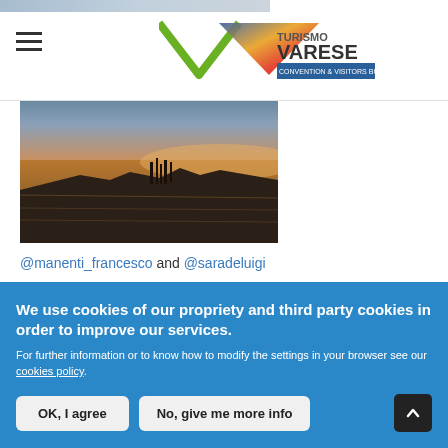Turismo Varese – Convention & Visitors Bureau (logo + hamburger menu)
[Figure (photo): Lake landscape photo at dusk with rocky shore and reeds, warm golden light reflecting on water]
@manenti_francesco and @saradeluigi
For further information or to know how to modify the settings in your browser see our cookies policy.
We use cookies of our propriety and third party cookies in order to improve our services.
For further information or to know how to modify the settings in your browser see our cookies policy.
OK, I agree | No, give me more info